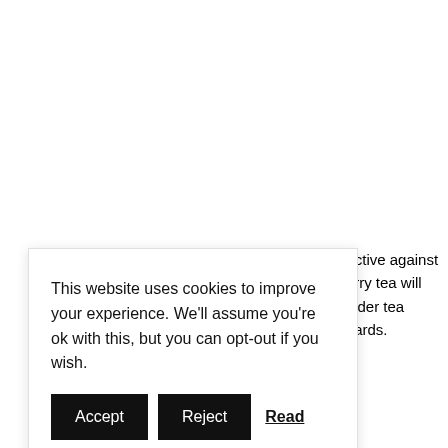effective against cherry tea will lvender tea erwards.
This website uses cookies to improve your experience. We'll assume you're ok with this, but you can opt-out if you wish. [Accept] [Reject] Read More